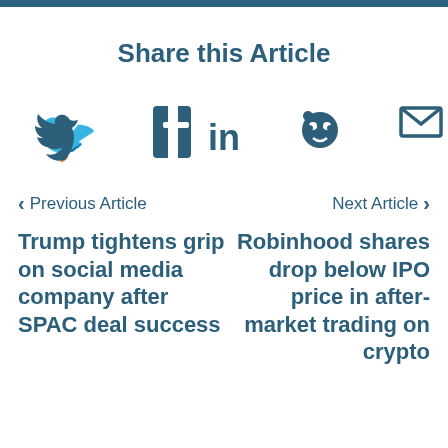Share this Article
[Figure (infographic): Social share icons: Twitter, Facebook, LinkedIn, Reddit, Email]
Previous Article
Trump tightens grip on social media company after SPAC deal success
Next Article
Robinhood shares drop below IPO price in after-market trading on crypto